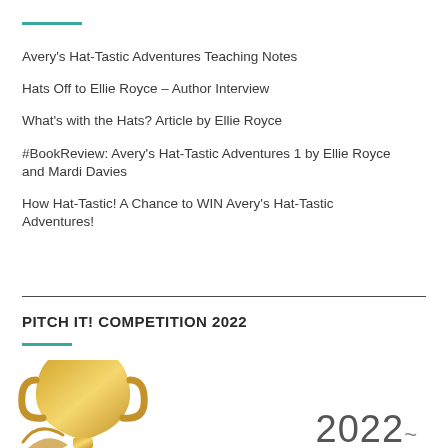Avery's Hat-Tastic Adventures Teaching Notes
Hats Off to Ellie Royce – Author Interview
What's with the Hats? Article by Ellie Royce
#BookReview: Avery's Hat-Tastic Adventures 1 by Ellie Royce and Mardi Davies
How Hat-Tastic! A Chance to WIN Avery's Hat-Tastic Adventures!
PITCH IT! COMPETITION 2022
[Figure (illustration): Partial view of a golden trophy on the left and '2022' text with decorative flourish on the right, cropped at bottom of page]